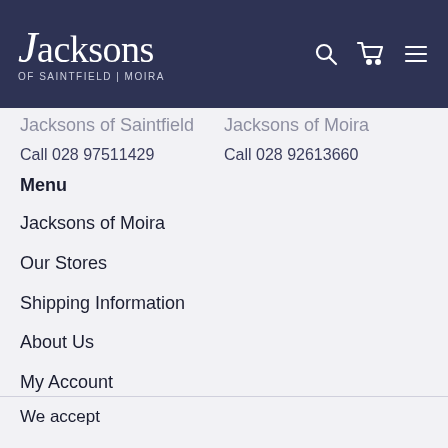Jacksons OF SAINTFIELD | MOIRA
Jacksons of Saintfield   Jacksons of Moira
Call 028 97511429   Call 028 92613660
Menu
Jacksons of Moira
Our Stores
Shipping Information
About Us
My Account
Returns
Search
Terms
We accept